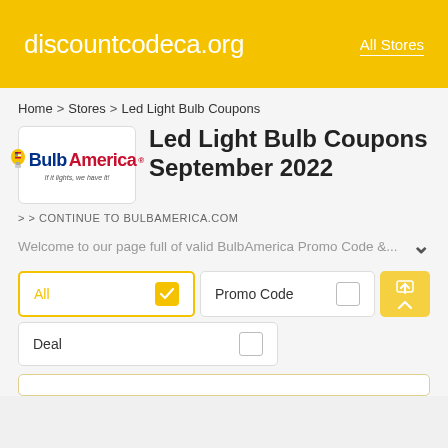discountcodeca.org   All Stores
Home > Stores > Led Light Bulb Coupons
Led Light Bulb Coupons September 2022
[Figure (logo): BulbAmerica logo with lightbulb icon, blue 'Bulb' and red 'America' text]
> > CONTINUE TO BULBAMERICA.COM
Welcome to our page full of valid BulbAmerica Promo Code &...
All  [checked]   Promo Code   [unchecked]
Deal  [unchecked]